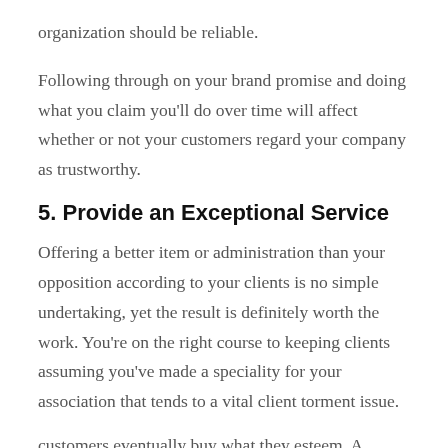organization should be reliable.
Following through on your brand promise and doing what you claim you'll do over time will affect whether or not your customers regard your company as trustworthy.
5. Provide an Exceptional Service
Offering a better item or administration than your opposition according to your clients is no simple undertaking, yet the result is definitely worth the work. You're on the right course to keeping clients assuming you've made a speciality for your association that tends to a vital client torment issue.
customers eventually buy what they esteem. A strong inspiration for customers to focus on your image is